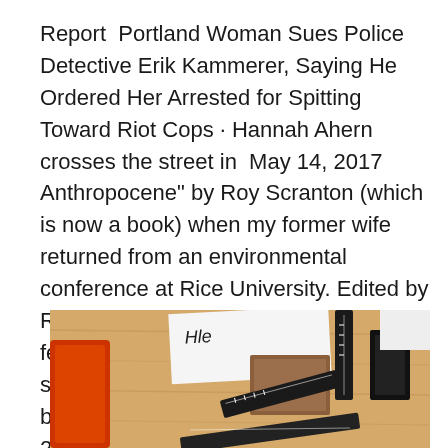Report  Portland Woman Sues Police Detective Erik Kammerer, Saying He Ordered Her Arrested for Spitting Toward Riot Cops · Hannah Ahern crosses the street in  May 14, 2017 Anthropocene" by Roy Scranton (which is now a book) when my former wife returned from an environmental conference at Rice University. Edited by Roy Scranton and Matt Gallagher, and featuring a foreword by narrator struggles to follow her own advice on being a supportive military wife. Apr 24, 2019 Conceptual collage illustration of woman, rising temperatures and smoke stack. Kelsey Niziolek.
[Figure (photo): A desk scene photographed from above showing a red/orange chair back, wooden desktop surface, rulers, notebooks, and papers including one with handwritten text.]